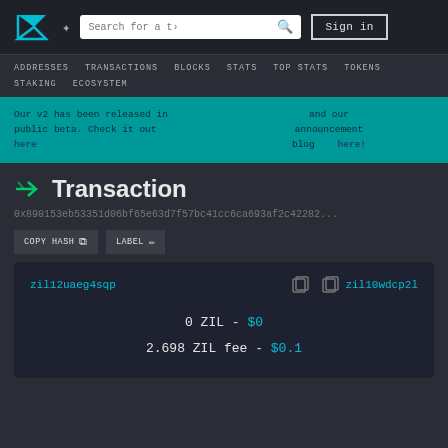Zilliqa block explorer navigation with logo, search, and sign in
ADDRESSES  TRANSACTIONS  BLOCKS  STATS  TOP STATS  TOKENS  STAKING  ECOSYSTEM
Our v2 has been released in public beta. Check it out here and our announcement blog here!
Transaction
0x890153eb53351d06bf65e63d7f57bc41cc6ca693af2c42282...
COPY HASH  LABEL
zil12uaeg4sqp  →  zil10wdcp2l
0 ZIL - $0
2.698 ZIL fee - $0.1